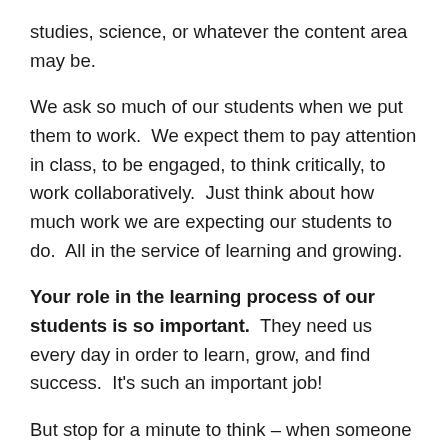studies, science, or whatever the content area may be.
We ask so much of our students when we put them to work.  We expect them to pay attention in class, to be engaged, to think critically, to work collaboratively.  Just think about how much work we are expecting our students to do.  All in the service of learning and growing.
Your role in the learning process of our students is so important.  They need us every day in order to learn, grow, and find success.  It's such an important job!
But stop for a minute to think – when someone asks you what you teach, what is your answer?  Do you respond with your content area?  Do you respond with your grade level?
I'm going to share something with you that you may not